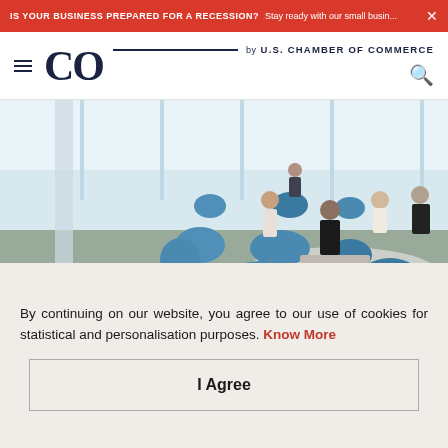IS YOUR BUSINESS PREPARED FOR A RECESSION? Stay ready with our small busin...
[Figure (logo): CO by U.S. Chamber of Commerce logo with hamburger menu and search icon]
[Figure (photo): Office meeting area with blue chairs and people having a business discussion in a bright modern space]
By continuing on our website, you agree to our use of cookies for statistical and personalisation purposes. Know More
I Agree